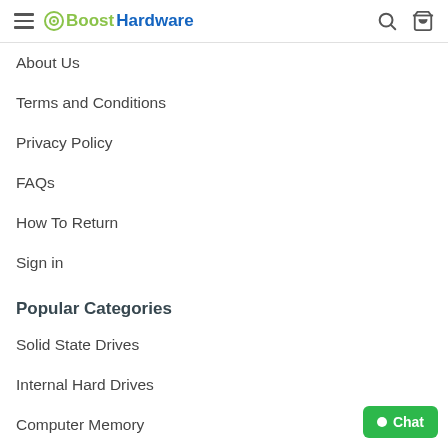Boost Hardware
About Us
Terms and Conditions
Privacy Policy
FAQs
How To Return
Sign in
Popular Categories
Solid State Drives
Internal Hard Drives
Computer Memory
Processors